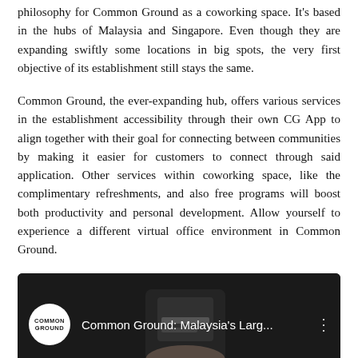philosophy for Common Ground as a coworking space. It's based in the hubs of Malaysia and Singapore. Even though they are expanding swiftly some locations in big spots, the very first objective of its establishment still stays the same.
Common Ground, the ever-expanding hub, offers various services in the establishment accessibility through their own CG App to align together with their goal for connecting between communities by making it easier for customers to connect through said application. Other services within coworking space, like the complimentary refreshments, and also free programs will boost both productivity and personal development. Allow yourself to experience a different virtual office environment in Common Ground.
[Figure (screenshot): YouTube-style video thumbnail showing 'Common Ground: Malaysia's Larg...' with Common Ground logo circle on left, dark background with a hand holding a phone visible, and a three-dot menu icon on the right.]